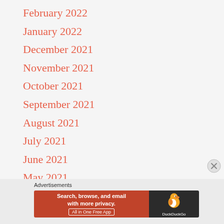February 2022
January 2022
December 2021
November 2021
October 2021
September 2021
August 2021
July 2021
June 2021
May 2021
Advertisements
[Figure (screenshot): DuckDuckGo advertisement banner: orange left panel with text 'Search, browse, and email with more privacy. All in One Free App', dark right panel with DuckDuckGo duck logo and brand name.]